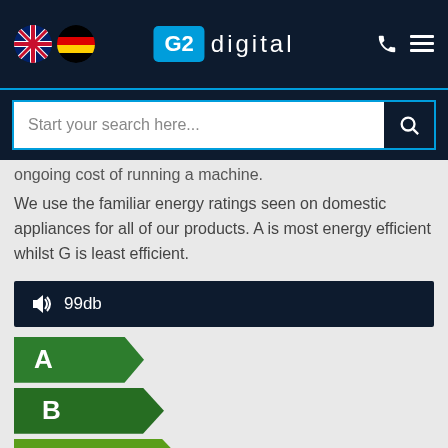[Figure (screenshot): G2 Digital website navigation bar with UK and German flag icons, G2 Digital logo, phone and menu icons]
[Figure (screenshot): Search bar with placeholder text 'Start your search here...' and search button]
ongoing cost of running a machine.
We use the familiar energy ratings seen on domestic appliances for all of our products. A is most energy efficient whilst G is least efficient.
🔊 99db
[Figure (infographic): Energy efficiency rating arrows showing A (dark green), B (dark green), C (yellow-green) labels]